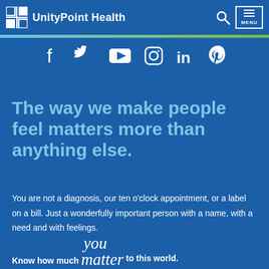UnityPoint Health
[Figure (logo): UnityPoint Health logo with grid icon and navigation icons for search and menu]
[Figure (illustration): Social media icons row: Facebook, Twitter, YouTube, Instagram, LinkedIn, Pinterest]
The way we make people feel matters more than anything else.
You are not a diagnosis, our ten o'clock appointment, or a label on a bill. Just a wonderfully important person with a name, with a need and with feelings.
Know how much you matter to this world.